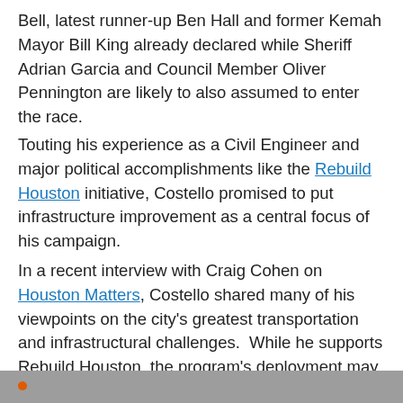Bell, latest runner-up Ben Hall and former Kemah Mayor Bill King already declared while Sheriff Adrian Garcia and Council Member Oliver Pennington are likely to also assumed to enter the race.
Touting his experience as a Civil Engineer and major political accomplishments like the Rebuild Houston initiative, Costello promised to put infrastructure improvement as a central focus of his campaign.
In a recent interview with Craig Cohen on Houston Matters, Costello shared many of his viewpoints on the city's greatest transportation and infrastructural challenges.  While he supports Rebuild Houston, the program's deployment may be substantially different.  He also shares plans for Complete Streets, and revealed why he “doesn’t ride a bike within the city”…
[Figure (other): Gray bar at bottom of page with small orange circle on left side]